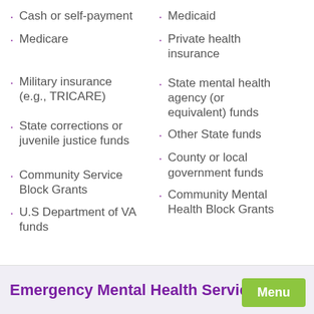Cash or self-payment
Medicaid
Medicare
Private health insurance
Military insurance (e.g., TRICARE)
State mental health agency (or equivalent) funds
State corrections or juvenile justice funds
Other State funds
County or local government funds
Community Service Block Grants
Community Mental Health Block Grants
U.S Department of VA funds
Emergency Mental Health Services